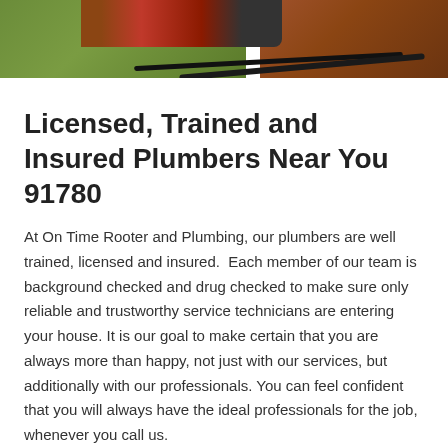[Figure (photo): Outdoor photo showing green grass on the left, a red/dark machine (likely excavation or rooter equipment) in the upper center, and brown soil on the right with dark hoses/cables visible at the bottom.]
Licensed, Trained and Insured Plumbers Near You 91780
At On Time Rooter and Plumbing, our plumbers are well trained, licensed and insured.  Each member of our team is background checked and drug checked to make sure only reliable and trustworthy service technicians are entering your house. It is our goal to make certain that you are always more than happy, not just with our services, but additionally with our professionals. You can feel confident that you will always have the ideal professionals for the job, whenever you call us.
No matter what services you need, our team provides high quality care you can depend on. We bring more than a decade of experience to every project, along with personal attention and unmatched skill. We can work on commercial plumbing and